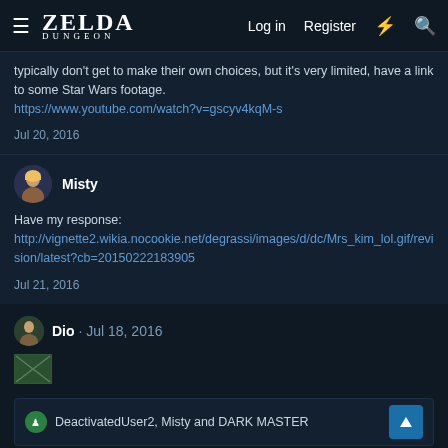ZELDA DUNGEON — Log in  Register
typically don't get to make their own choices, but it's very limited, have a link to some Star Wars footage.
https://www.youtube.com/watch?v=gscyv4kqM-s
Jul 20, 2016
Misty
Have my response:
http://vignette2.wikia.nocookie.net/degrassi/images/d/dc/Mrs_kim_lol.gif/revision/latest?cb=20150222183905
Jul 21, 2016
Dio · Jul 18, 2016
[Figure (illustration): Small broken/placeholder image icon]
DeactivatedUser2, Misty and DARK MASTER
1 of 5  Next ▶  ▶▶